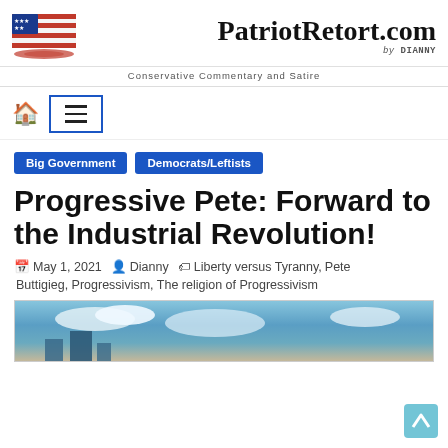PatriotRetort.com by DIANNY
Conservative Commentary and Satire
[Figure (logo): American flag logo for PatriotRetort.com]
Big Government   Democrats/Leftists
Progressive Pete: Forward to the Industrial Revolution!
May 1, 2021   Dianny   Liberty versus Tyranny, Pete Buttigieg, Progressivism, The religion of Progressivism
[Figure (photo): Partial image preview at bottom of page, showing sky and industrial scene]